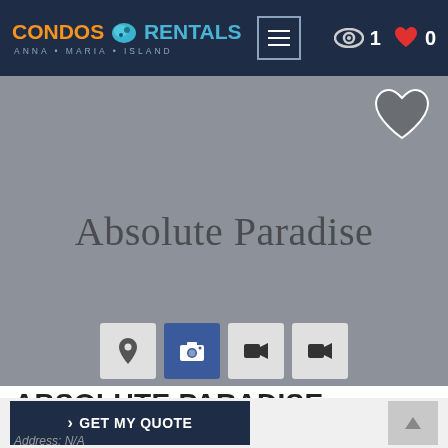[Figure (screenshot): Website header navbar with Condos & Rentals Anna Maria Island logo, hamburger menu, eye icon with count 1, red heart icon with count 0]
[Figure (screenshot): Hero image placeholder in gray with text 'Absolute Paradise', gray heart outline button top right, four icon buttons at bottom (location pin, camera active/blue, two video camera icons)]
ABSOLUTE PARADISE
[Figure (screenshot): Action bar with '> GET MY QUOTE' dark navy button and gray scroll-to-top arrow button]
Address: N/A